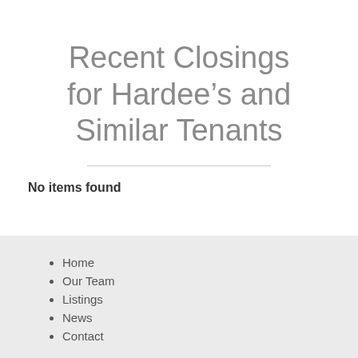Recent Closings for Hardee’s and Similar Tenants
No items found
Home
Our Team
Listings
News
Contact